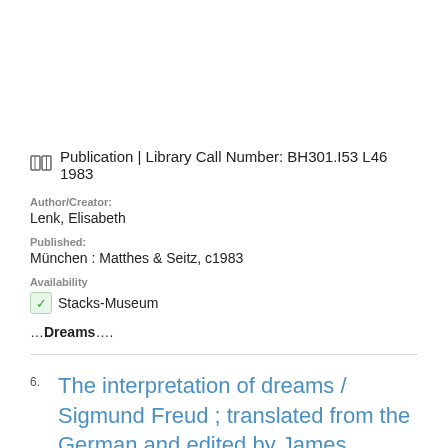Publication | Library Call Number: BH301.I53 L46 1983
Author/Creator: Lenk, Elisabeth
Published: München : Matthes & Seitz, c1983
Availability: Stacks-Museum
…Dreams….
6. The interpretation of dreams / Sigmund Freud ; translated from the German and edited by James Strachey.